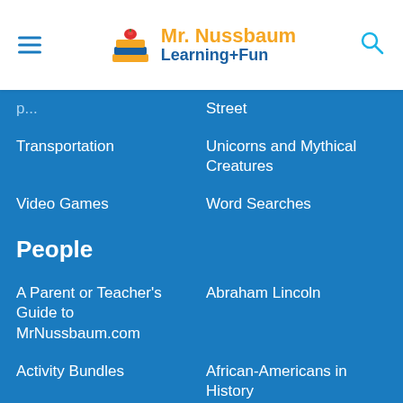Mr. Nussbaum Learning+Fun
Street
Transportation
Unicorns and Mythical Creatures
Video Games
Word Searches
People
A Parent or Teacher's Guide to MrNussbaum.com
Abraham Lincoln
Activity Bundles
African-Americans in History
Alexander Hamilton
Amelia Earhart
Antagonists
Artists